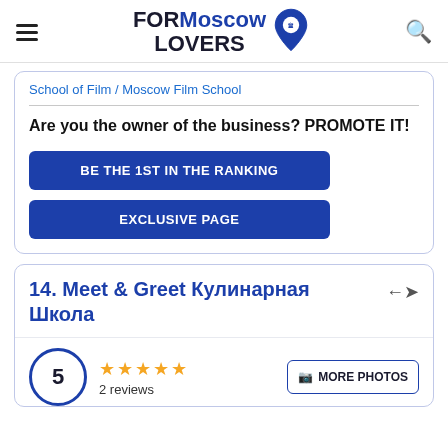FORMoscow LOVERS
School of Film / Moscow Film School
Are you the owner of the business? PROMOTE IT!
BE THE 1ST IN THE RANKING
EXCLUSIVE PAGE
14. Meet & Greet Кулинарная Школа
5
2 reviews
MORE PHOTOS